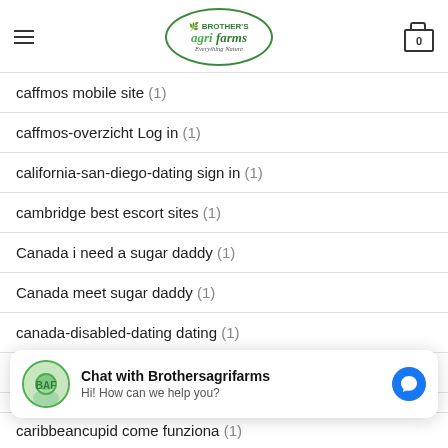BROTHER'S agri farms - Everything Nature
caffmos mobile site (1)
caffmos-overzicht Log in (1)
california-san-diego-dating sign in (1)
cambridge best escort sites (1)
Canada i need a sugar daddy (1)
Canada meet sugar daddy (1)
canada-disabled-dating dating (1)
canadian-chat-rooms mobile site (1)
Chat with Brothersagrifarms
Hi! How can we help you?
caribbeancupid come funziona (1)